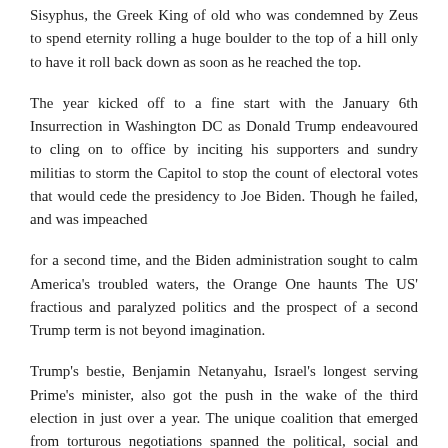Sisyphus, the Greek King of old who was condemned by Zeus to spend eternity rolling a huge boulder to the top of a hill only to have it roll back down as soon as he reached the top.
The year kicked off to a fine start with the January 6th Insurrection in Washington DC as Donald Trump endeavoured to cling on to office by inciting his supporters and sundry militias to storm the Capitol to stop the count of electoral votes that would cede the presidency to Joe Biden. Though he failed, and was impeached
for a second time, and the Biden administration sought to calm America's troubled waters, the Orange One haunts The US' fractious and paralyzed politics and the prospect of a second Trump term is not beyond imagination.
Trump's bestie, Benjamin Netanyahu, Israel's longest serving Prime's minister, also got the push in the wake of the third election in just over a year. The unique coalition that emerged from torturous negotiations spanned the political, social and religious spectrum – left and right, secular and orthodox, Arab and Jew, and promised little more than maintaining the